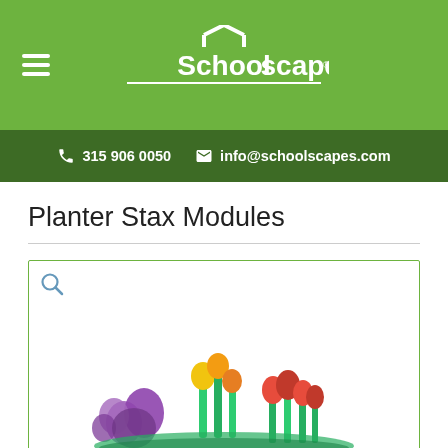Schoolscapes
☎ 315 906 0050   ✉ info@schoolscapes.com
Planter Stax Modules
[Figure (photo): Product image area with a magnifying glass icon in the top-left corner and a colorful flower arrangement (purple, yellow, red tulips) visible at the bottom of the frame.]